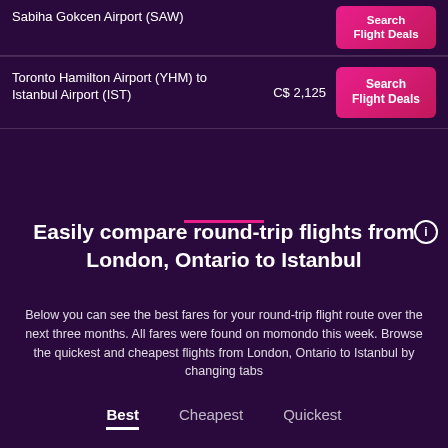| Route | Price | Action |
| --- | --- | --- |
| Sabiha Gokcen Airport (SAW) |  | Search Flight Deals |
| Toronto Hamilton Airport (YHM) to Istanbul Airport (IST) | C$ 2,125 | Search Flight Deals |
Easily compare round-trip flights from London, Ontario to Istanbul
Below you can see the best fares for your round-trip flight route over the next three months. All fares were found on momondo this week. Browse the quickest and cheapest flights from London, Ontario to Istanbul by changing tabs
Best   Cheapest   Quickest